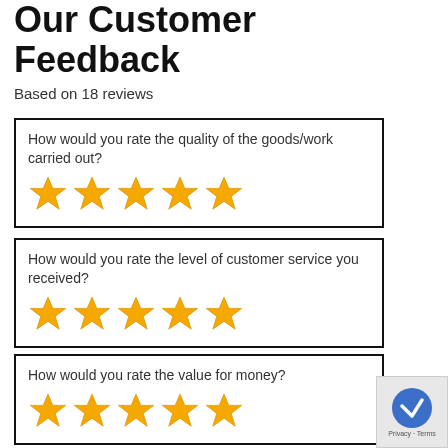Our Customer Feedback
Based on 18 reviews
How would you rate the quality of the goods/work carried out? [5 stars]
How would you rate the level of customer service you received? [5 stars]
How would you rate the value for money? [5 stars]